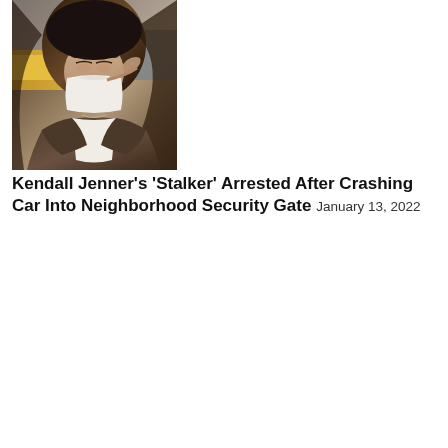[Figure (photo): Photo of Kendall Jenner wearing a white face mask, sunglasses on her head, dark brown blazer, and white top, with urban background]
Kendall Jenner's 'Stalker' Arrested After Crashing Car Into Neighborhood Security Gate January 13, 2022